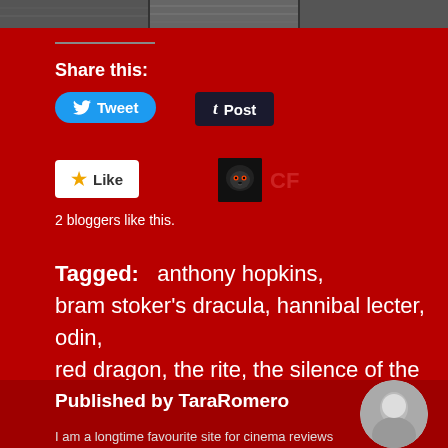[Figure (photo): Top strip showing partial black and white photo of people]
Share this:
[Figure (screenshot): Tweet button (blue rounded) and Post button (dark/Tumblr)]
[Figure (screenshot): Like button (white box with star) and CF avatar icon in red]
2 bloggers like this.
Tagged:   anthony hopkins, bram stoker's dracula, hannibal lecter, odin, red dragon, the rite, the silence of the lambs, the wolfman, thor
Published by TaraRomero
I am a longtime favourite site for cinema reviews